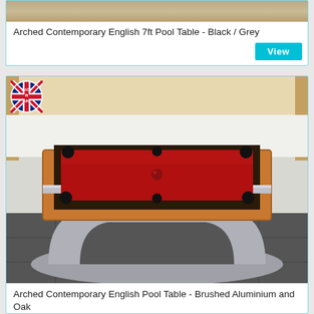[Figure (photo): Top portion of a pool table with dark/grey surface visible at top of card]
Arched Contemporary English 7ft Pool Table - Black / Grey
[Figure (photo): Arched contemporary English pool table with brushed aluminium arch base, oak wood frame surround, and red baize playing surface, photographed on dark tile floor]
[Figure (logo): Circular Made in UK badge with Union Jack flag design]
Arched Contemporary English Pool Table - Brushed Aluminium and Oak